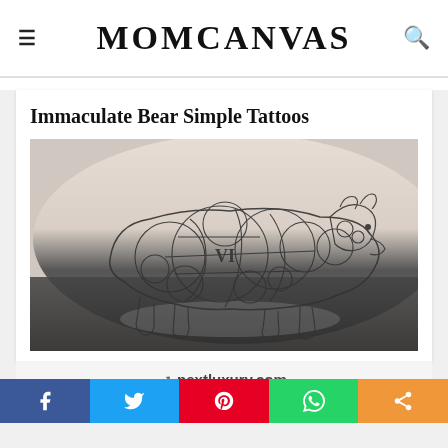MOMCANVAS
Immaculate Bear Simple Tattoos
[Figure (photo): A geometric bear tattoo on an arm, made of fine-line circular shapes and patterns, photographed against a dark surface]
nextluxury.com
[Figure (infographic): Social sharing bar with Facebook, Twitter, Pinterest, WhatsApp, and share buttons]